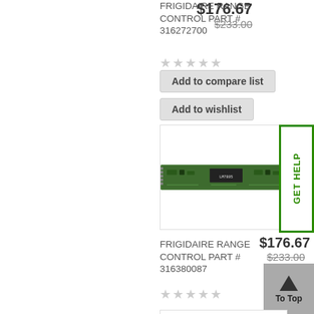FRIGIDAIRE RANGE CONTROL PART # 316272700
$176.67
$233.00
★★★★★ (empty stars)
Add to compare list
Add to wishlist
[Figure (photo): Green circuit board / PCB control part]
FRIGIDAIRE RANGE CONTROL PART # 316380087
$176.67
$233.00
★★★★★ (empty stars)
Add to compare list
Add to wishlist
[Figure (photo): Circular refresh/sync icon placeholder (ghost)]
GET HELP
To Top